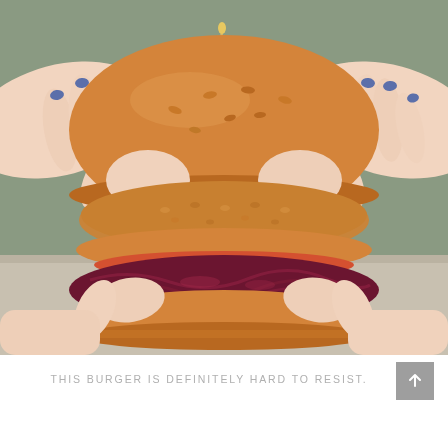[Figure (photo): A close-up photograph of hands with blue-painted nails holding a large burger. The burger has a golden-brown sesame bun, a breaded patty with white sauce, a tomato slice, and a dark red beet/purple cabbage slaw filling.]
THIS BURGER IS DEFINITELY HARD TO RESIST.